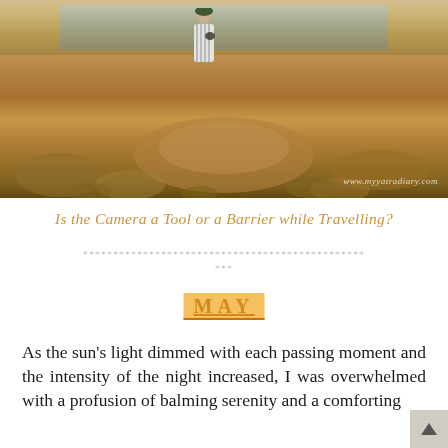[Figure (photo): A person sitting on rocky coastal terrain overlooking a calm sea/bay at golden hour sunset. Rocky sandstone formations in the foreground, shimmering water and small islands in the background. Watermark reads www.myyatradiary.com]
Is the Camera a Tool or a Barrier while Travelling?
*************************************************** ***
MAY
As the sun’s light dimmed with each passing moment and the intensity of the night increased, I was overwhelmed with a profusion of balming serenity and a comforting